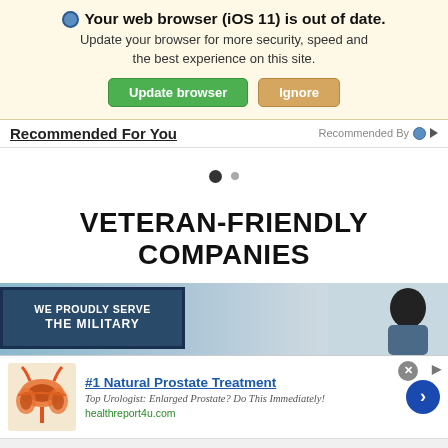[Figure (screenshot): Browser update notification banner with globe icon, bold text 'Your web browser (iOS 11) is out of date.', subtext about updating for security/speed/experience, green 'Update browser' button and tan 'Ignore' button]
Recommended For You                    Recommended By
[Figure (other): Carousel pagination dots — one filled dark dot and one smaller grey dot]
VETERAN-FRIENDLY COMPANIES
[Figure (photo): Photo strip showing a sign reading 'WE PROUDLY SERVE THE MILITARY' on dark blue background and a smiling person on the right]
[Figure (screenshot): Advertisement: '#1 Natural Prostate Treatment' with prostate illustration, text 'Top Urologist: Enlarged Prostate? Do This Immediately!', domain healthreport4u.com, blue arrow button, and close X button]